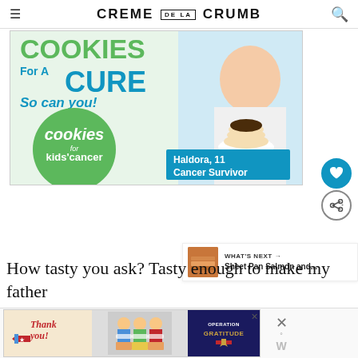CREME DE LA CRUMB
[Figure (photo): Advertisement for Cookies for Kids Cancer showing a girl holding a plate of pancakes with chocolate topping, green circle with 'cookies for kids cancer' logo, teal box reading 'Haldora, 11 Cancer Survivor', text 'COOKIES For A CURE So can you!']
How tasty you ask? Tasty enough to make my father
[Figure (photo): Bottom advertisement: Thank You banner with Operation Gratitude logo showing people in masks holding packages]